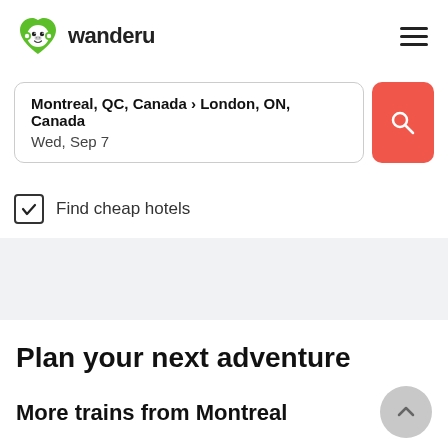[Figure (logo): Wanderu logo — green monkey face icon with heart shape, followed by 'wanderu' wordmark in dark text]
Montreal, QC, Canada › London, ON, Canada
Wed, Sep 7
[Figure (other): Red search button with magnifying glass icon]
Find cheap hotels
Plan your next adventure
More trains from Montreal